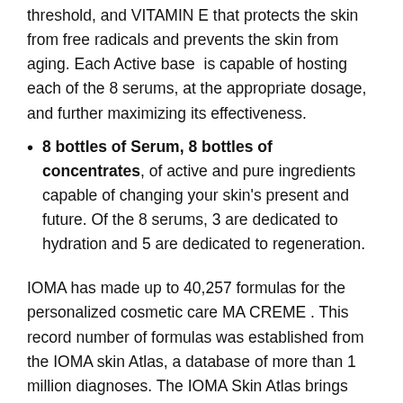threshold, and VITAMIN E that protects the skin from free radicals and prevents the skin from aging. Each Active base is capable of hosting each of the 8 serums, at the appropriate dosage, and further maximizing its effectiveness.
8 bottles of Serum, 8 bottles of concentrates, of active and pure ingredients capable of changing your skin's present and future. Of the 8 serums, 3 are dedicated to hydration and 5 are dedicated to regeneration.
IOMA has made up to 40,257 formulas for the personalized cosmetic care MA CREME . This record number of formulas was established from the IOMA skin Atlas, a database of more than 1 million diagnoses. The IOMA Skin Atlas brings together over 1 million skin diagnostics summarised, compared, sampled. Each day, the IOMA Skin Atlas is enriched by the results of the 2,200 diagnostic